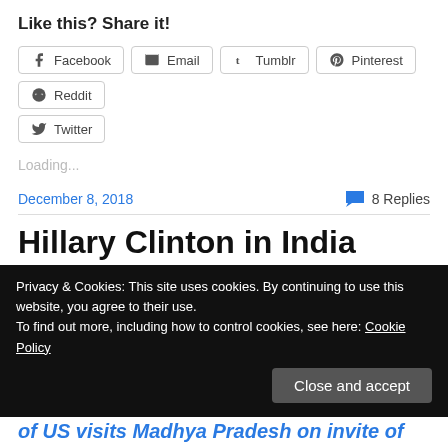Like this? Share it!
[Figure (infographic): Social share buttons: Facebook, Email, Tumblr, Pinterest, Reddit, Twitter]
Loading...
December 8, 2018   8 Replies
Hillary Clinton in India
Privacy & Cookies: This site uses cookies. By continuing to use this website, you agree to their use.
To find out more, including how to control cookies, see here: Cookie Policy
Close and accept
of US visits Madhya Pradesh on invite of